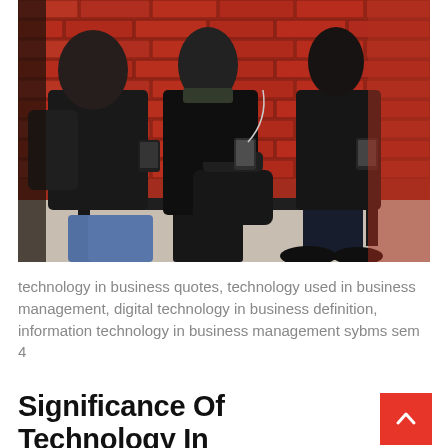[Figure (photo): Three people sitting on a bench against a red brick wall, each looking at their smartphones. The person on the left wears jeans and a dark jacket with a backpack; the middle person wears all black with a handbag; the right person wears dark jeans and dark shoes.]
technology in business quotes, technology used in business management, digital technology in business definition, information technology in business management sybms sem 4
Significance Of Technology In Enterprise